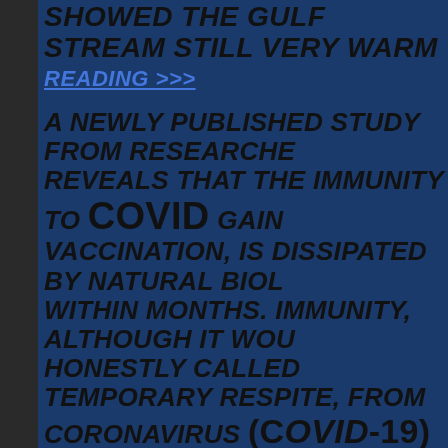SHOWED THE GULF STREAM STILL VERY WARM
READING >>>
A NEWLY PUBLISHED STUDY FROM RESEARCHERS REVEALS THAT THE IMMUNITY TO COVID GAINED FROM VACCINATION, IS DISSIPATED BY NATURAL BIOLOGY WITHIN MONTHS. IMMUNITY, ALTHOUGH IT WOULD BE HONESTLY CALLED TEMPORARY RESPITE, FROM CORONAVIRUS (Covid-19) INJECTIONS IS SHORT AND COMPLETELY GONE WITHIN MONTHS, THIS BACKS DOUBTS RAISED BY VACCINE SCEPTICS (OR CONSPIRACY THEORISTS AS MAINSTREAM MEDIA LIKES TO CALL...
READING >>>
UK Energy Crisis Deepens as prices and